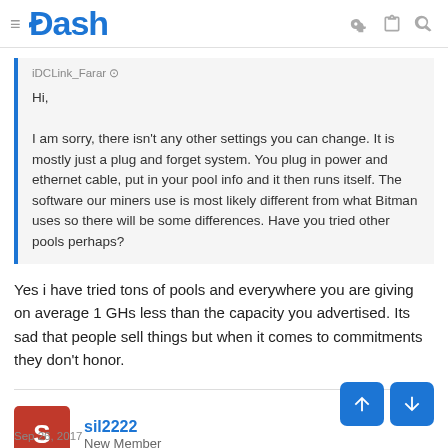Dash
iDCLink_Farar
Hi,
I am sorry, there isn't any other settings you can change. It is mostly just a plug and forget system. You plug in power and ethernet cable, put in your pool info and it then runs itself. The software our miners use is most likely different from what Bitman uses so there will be some differences. Have you tried other pools perhaps?
Yes i have tried tons of pools and everywhere you are giving on average 1 GHs less than the capacity you advertised. Its sad that people sell things but when it comes to commitments they don't honor.
sil2222
New Member